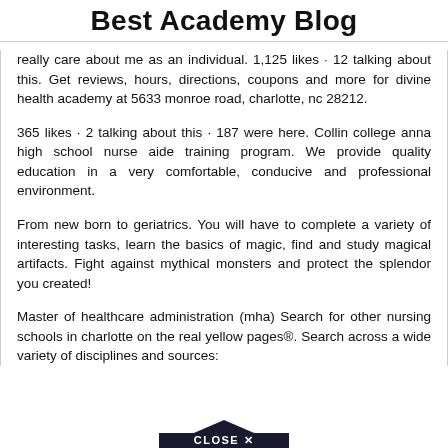Best Academy Blog
really care about me as an individual. 1,125 likes · 12 talking about this. Get reviews, hours, directions, coupons and more for divine health academy at 5633 monroe road, charlotte, nc 28212.
365 likes · 2 talking about this · 187 were here. Collin college anna high school nurse aide training program. We provide quality education in a very comfortable, conducive and professional environment.
From new born to geriatrics. You will have to complete a variety of interesting tasks, learn the basics of magic, find and study magical artifacts. Fight against mythical monsters and protect the splendor you created!
Master of healthcare administration (mha) Search for other nursing schools in charlotte on the real yellow pages®. Search across a wide variety of disciplines and sources:
[Figure (other): CLOSE X button in a dark triangular/arrow shape pointing upward at the bottom of the page]